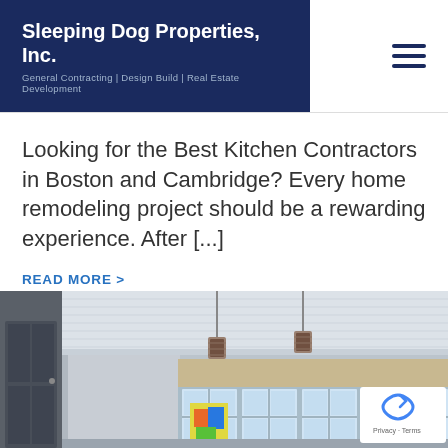Sleeping Dog Properties, Inc. | General Contracting | Design Build | Real Estate Development
Looking for the Best Kitchen Contractors in Boston and Cambridge? Every home remodeling project should be a rewarding experience. After [...]
READ MORE >
[Figure (photo): Interior photo of a bright kitchen/dining room with white beadboard ceiling, pendant industrial-style lights, tall French windows, and colorful artwork]